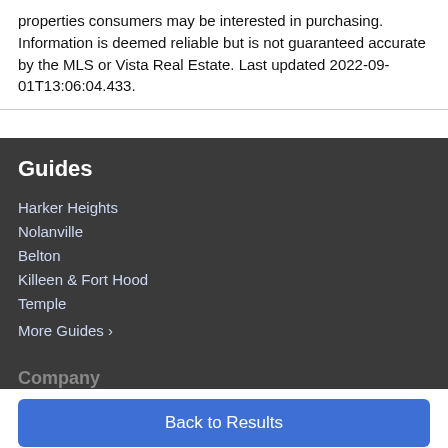properties consumers may be interested in purchasing. Information is deemed reliable but is not guaranteed accurate by the MLS or Vista Real Estate. Last updated 2022-09-01T13:06:04.433.
Guides
Harker Heights
Nolanville
Belton
Killeen & Fort Hood
Temple
More Guides ›
Company
Back to Results